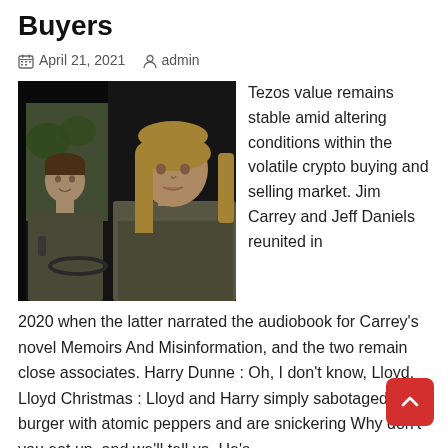Buyers
April 21, 2021   admin
[Figure (photo): Two men sitting inside a vehicle; one with short hair on the left, one with long blonde hair on the right, both in casual/work clothes.]
Tezos value remains stable amid altering conditions within the volatile crypto buying and selling market. Jim Carrey and Jeff Daniels reunited in 2020 when the latter narrated the audiobook for Carrey's novel Memoirs And Misinformation, and the two remain close associates. Harry Dunne : Oh, I don't know, Lloyd. Lloyd Christmas : Lloyd and Harry simply sabotaged his burger with atomic peppers and are snickering Why don't you eat up, and we'll tell ya. He's